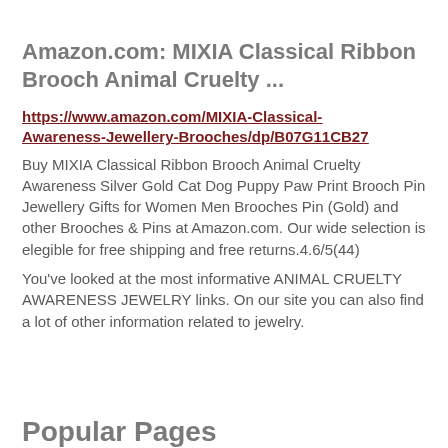Amazon.com: MIXIA Classical Ribbon Brooch Animal Cruelty ...
https://www.amazon.com/MIXIA-Classical-Awareness-Jewellery-Brooches/dp/B07G11CB27
Buy MIXIA Classical Ribbon Brooch Animal Cruelty Awareness Silver Gold Cat Dog Puppy Paw Print Brooch Pin Jewellery Gifts for Women Men Brooches Pin (Gold) and other Brooches & Pins at Amazon.com. Our wide selection is elegible for free shipping and free returns.4.6/5(44)
You've looked at the most informative ANIMAL CRUELTY AWARENESS JEWELRY links. On our site you can also find a lot of other information related to jewelry.
Popular Pages